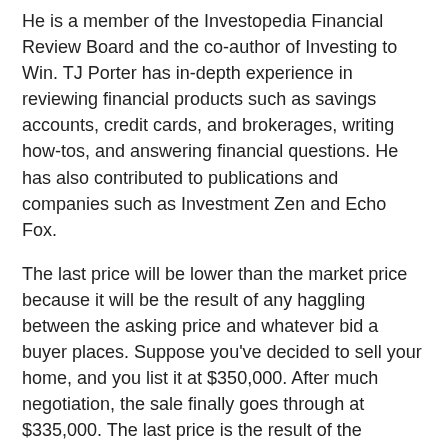He is a member of the Investopedia Financial Review Board and the co-author of Investing to Win. TJ Porter has in-depth experience in reviewing financial products such as savings accounts, credit cards, and brokerages, writing how-tos, and answering financial questions. He has also contributed to publications and companies such as Investment Zen and Echo Fox.
The last price will be lower than the market price because it will be the result of any haggling between the asking price and whatever bid a buyer places. Suppose you've decided to sell your home, and you list it at $350,000. After much negotiation, the sale finally goes through at $335,000. The last price is the result of the transaction—not necessarily what you hoped to get, nor what the buyer hoped to pay. Similarly, always selling at the bid means a slightly lower sale price than selling at the offer. The bid and ask are always fluctuating, so it's sometimes worthwhile to get in or out quickly.
They each decide how much they're willing to pay, then form a line in the order of highest price to lowest price. The person at the front of the line is willing to pay the most for a share, so their price becomes the bid price. To find out more about cryptocurrency trading and exchanges, click here. Once multiple buyers have placed their bids, they will incrementally increase the bids to compete with each other. This is beneficial to the seller since it adds additional pressure to